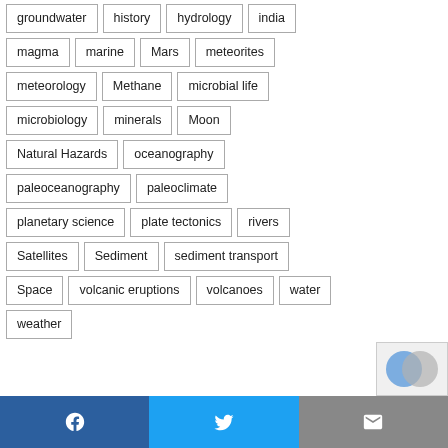groundwater
history
hydrology
india
magma
marine
Mars
meteorites
meteorology
Methane
microbial life
microbiology
minerals
Moon
Natural Hazards
oceanography
paleoceanography
paleoclimate
planetary science
plate tectonics
rivers
Satellites
Sediment
sediment transport
Space
volcanic eruptions
volcanoes
water
weather
Facebook | Twitter | Email